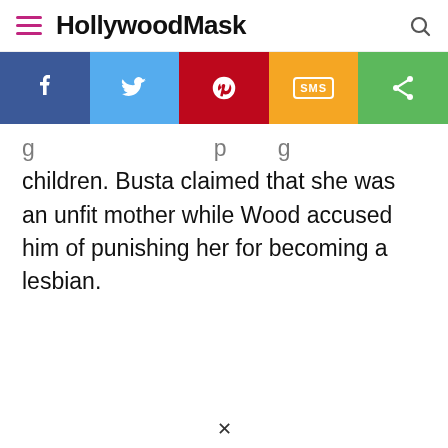HollywoodMask
[Figure (infographic): Social share bar with Facebook, Twitter, Pinterest, SMS, and Share buttons]
children. Busta claimed that she was an unfit mother while Wood accused him of punishing her for becoming a lesbian.